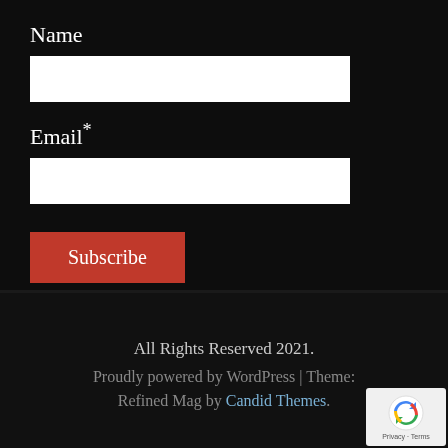Name
[Figure (other): Empty white text input field for Name]
Email*
[Figure (other): Empty white text input field for Email]
Subscribe
All Rights Reserved 2021. Proudly powered by WordPress | Theme: Refined Mag by Candid Themes.